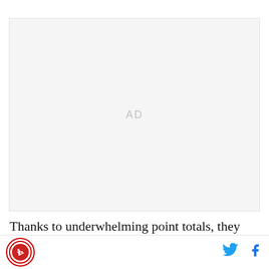[Figure (other): Advertisement placeholder box with 'AD' label in light gray]
Thanks to underwhelming point totals, they don't necessarily get the credit they deserve but guys like
Site logo with Twitter and Facebook social icons